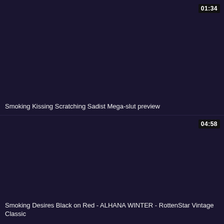[Figure (screenshot): Video thumbnail card with dark navy/purple background, duration badge showing 01:34 in top right corner]
Smoking Kissing Scratching Sadist Mega-slut preview
[Figure (screenshot): Video thumbnail card with dark navy/purple background, duration badge showing 04:58 in bottom right area]
Smoking Desires Black on Red - ALHANA WINTER - RottenStar Vintage Classic